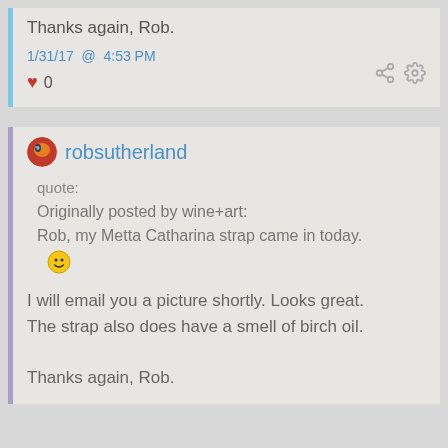Thanks again, Rob.
1/31/17 @ 4:53 PM
♥ 0
robsutherland
quote:
Originally posted by wine+art:
Rob, my Metta Catharina strap came in today. 😎
I will email you a picture shortly. Looks great. The strap also does have a smell of birch oil.

Thanks again, Rob.